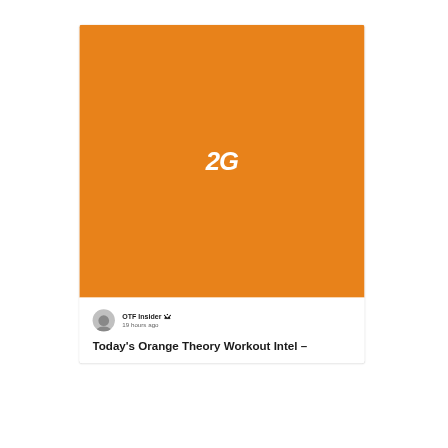[Figure (logo): Orange square banner image with white bold italic '2G' logo centered on an orange background (#E8821A)]
OTF Insider 👑 19 hours ago
Today's Orange Theory Workout Intel –